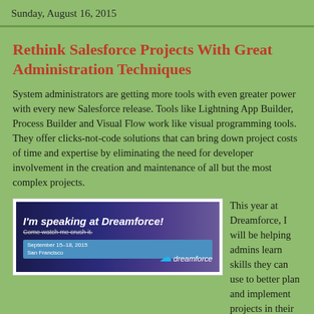Sunday, August 16, 2015
Rethink Salesforce Projects With Great Administration Techniques
System administrators are getting more tools with even greater power with every new Salesforce release.  Tools like Lightning App Builder, Process Builder and Visual Flow work like visual programming tools.  They offer clicks-not-code solutions that can bring down project costs of time and expertise by eliminating the need for developer involvement in the creation and maintenance of all but the most complex projects.
[Figure (photo): Advertisement banner: 'I'm speaking at Dreamforce! Come watch me crush it. September 15-18, 2015 San Francisco' with dreamforce logo]
This year at Dreamforce, I will be helping admins learn skills they can use to better plan and implement projects in their orgs.  Please look for my sessions here: